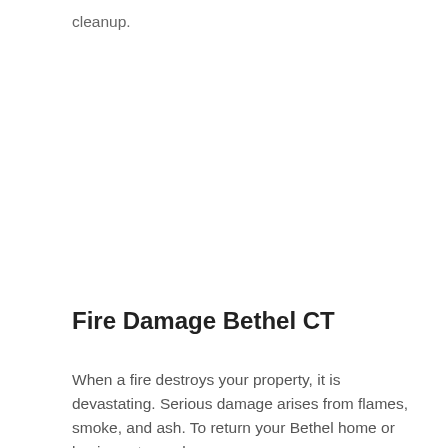cleanup.
Fire Damage Bethel CT
When a fire destroys your property, it is devastating. Serious damage arises from flames, smoke, and ash. To return your Bethel home or business to pre-loss